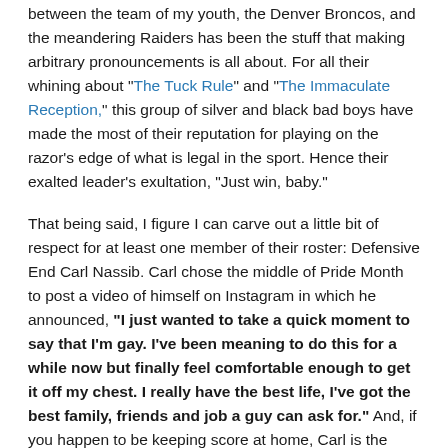between the team of my youth, the Denver Broncos, and the meandering Raiders has been the stuff that making arbitrary pronouncements is all about. For all their whining about "The Tuck Rule" and "The Immaculate Reception," this group of silver and black bad boys have made the most of their reputation for playing on the razor's edge of what is legal in the sport. Hence their exalted leader's exultation, "Just win, baby."
That being said, I figure I can carve out a little bit of respect for at least one member of their roster: Defensive End Carl Nassib. Carl chose the middle of Pride Month to post a video of himself on Instagram in which he announced, “I just wanted to take a quick moment to say that I’m gay. I’ve been meaning to do this for a while now but finally feel comfortable enough to get it off my chest. I really have the best life, I’ve got the best family, friends and job a guy can ask for.” And, if you happen to be keeping score at home, Carl is the very first active National Football League player to come out. Ever.
David Kopay, a running back who played with the San Francisco Forty Niners for eight seasons, was the first NFL